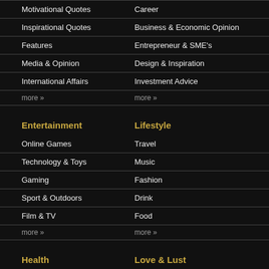Motivational Quotes | Career
Inspirational Quotes | Business & Economic Opinion
Features | Entrepreneur & SME's
Media & Opinion | Design & Inspiration
International Affairs | Investment Advice
more » | more »
Entertainment
Lifestyle
Online Games | Travel
Technology & Toys | Music
Gaming | Fashion
Sport & Outdoors | Drink
Film & TV | Food
more » | more »
Health
Love & Lust
Your body | Best Sex Positions
Mental Health | Top 10 Sex Positions
Exercise | Game